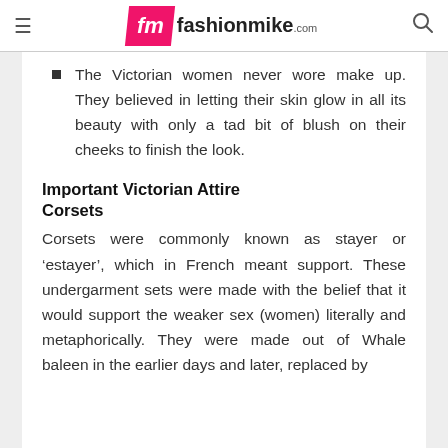fashionmike.com
The Victorian women never wore make up. They believed in letting their skin glow in all its beauty with only a tad bit of blush on their cheeks to finish the look.
Important Victorian Attire
Corsets
Corsets were commonly known as stayer or ‘estayer’, which in French meant support. These undergarment sets were made with the belief that it would support the weaker sex (women) literally and metaphorically. They were made out of Whale baleen in the earlier days and later, replaced by